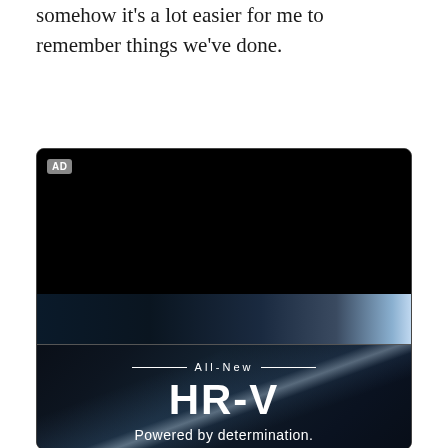somehow it's a lot easier for me to remember things we've done.
[Figure (screenshot): Video advertisement player with black screen, AD label in top-left corner, speaker/audio icon in bottom-left, and a dark abstract background showing part of a car advertisement for the All-New Honda HR-V with text 'All-New HR-V Powered by determination.']